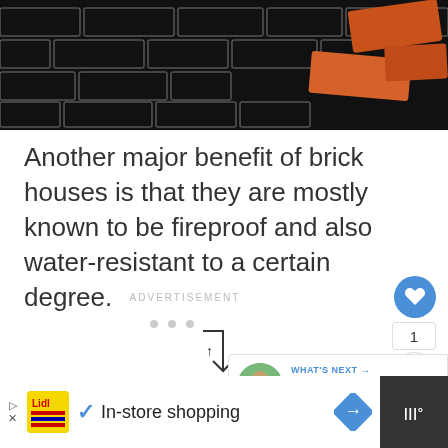[Figure (photo): Brick wall with orange/red bricks falling or stacked on the right side, dark background]
Another major benefit of brick houses is that they are mostly known to be fireproof and also water-resistant to a certain degree.
ADVERTISEMENT
[Figure (infographic): What's Next panel showing a thumbnail image and text 'How Long Should a...' with a portrait thumbnail]
In-store shopping